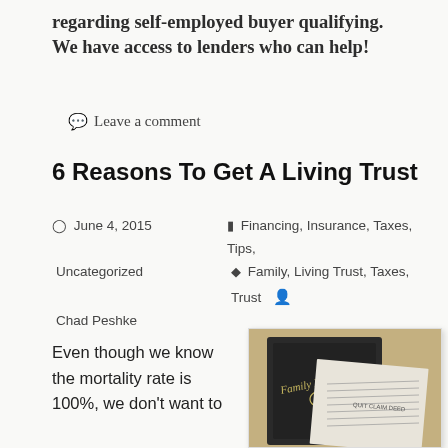regarding self-employed buyer qualifying. We have access to lenders who can help!
Leave a comment
6 Reasons To Get A Living Trust
June 4, 2015   Financing, Insurance, Taxes, Tips, Uncategorized   Family, Living Trust, Taxes, Trust   Chad Peshke
Even though we know the mortality rate is 100%, we don't want to
[Figure (photo): A black binder labeled 'Family Living Trust' with a decorative emblem, overlaid by a white document titled 'Quit Claim Deed', set against a warm tan background.]